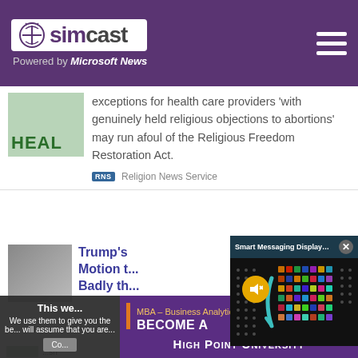simcast — Powered by Microsoft News
exceptions for health care providers 'with genuinely held religious objections to abortions' may run afoul of the Religious Freedom Restoration Act.
Religion News Service
Trump's Motion t... Badly th...
[Figure (screenshot): Smart Messaging Display Vestaboard R... video popup with mute button and colorful LED display]
This we...
We use them to give you the be... will assume that you are...
Co...
[Figure (infographic): MBA – Business Analytics. BECOME A DATA-DRIVEN LEADER. LEARN MORE. HIGH POINT UNIVERSITY advertisement banner]